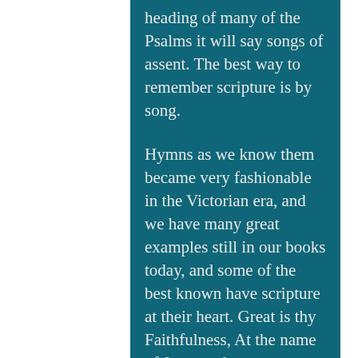heading of many of the Psalms it will say songs of assent. The best way to remember scripture is by song.
Hymns as we know them became very fashionable in the Victorian era, and we have many great examples still in our books today, and some of the best known have scripture at their heart. Great is thy Faithfulness, At the name of Jesus and many more especially those written by John and Charles Wesley.
We could just sing the words. We could moan about new songs that we don't like. We could stand in silence while everyone else sings.